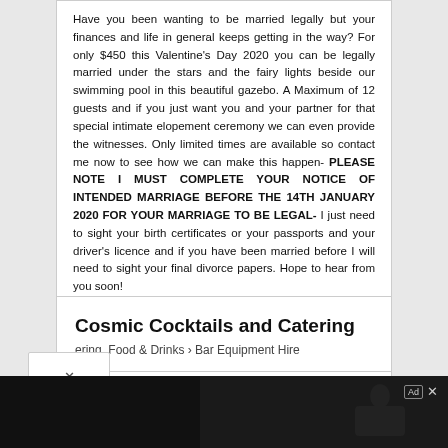Have you been wanting to be married legally but your finances and life in general keeps getting in the way? For only $450 this Valentine's Day 2020 you can be legally married under the stars and the fairy lights beside our swimming pool in this beautiful gazebo. A Maximum of 12 guests and if you just want you and your partner for that special intimate elopement ceremony we can even provide the witnesses. Only limited times are available so contact me now to see how we can make this happen- PLEASE NOTE I MUST COMPLETE YOUR NOTICE OF INTENDED MARRIAGE BEFORE THE 14TH JANUARY 2020 FOR YOUR MARRIAGE TO BE LEGAL- I just need to sight your birth certificates or your passports and your driver's licence and if you have been married before I will need to sight your final divorce papers. Hope to hear from you soon!
Claim this offer
Request more details
Cosmic Cocktails and Catering
ering, Food & Drinks > Bar Equipment Hire
[Figure (screenshot): Advertisement banner: Download Helbiz and ride, dark background with person on scooter]